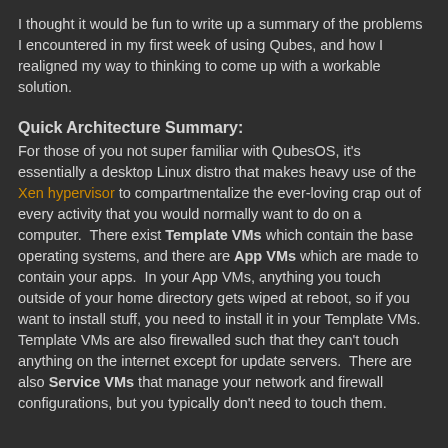I thought it would be fun to write up a summary of the problems I encountered in my first week of using Qubes, and how I realigned my way to thinking to come up with a workable solution.
Quick Architecture Summary:
For those of you not super familiar with QubesOS, it's essentially a desktop Linux distro that makes heavy use of the Xen hypervisor to compartmentalize the ever-loving crap out of every activity that you would normally want to do on a computer.  There exist Template VMs which contain the base operating systems, and there are App VMs which are made to contain your apps.  In your App VMs, anything you touch outside of your home directory gets wiped at reboot, so if you want to install stuff, you need to install it in your Template VMs.  Template VMs are also firewalled such that they can't touch anything on the internet except for update servers.  There are also Service VMs that manage your network and firewall configurations, but you typically don't need to touch them.